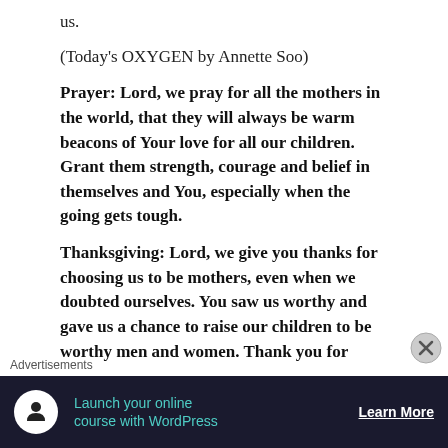us.
(Today's OXYGEN by Annette Soo)
Prayer: Lord, we pray for all the mothers in the world, that they will always be warm beacons of Your love for all our children. Grant them strength, courage and belief in themselves and You, especially when the going gets tough.
Thanksgiving: Lord, we give you thanks for choosing us to be mothers, even when we doubted ourselves. You saw us worthy and gave us a chance to raise our children to be worthy men and women. Thank you for
Advertisements
[Figure (infographic): Dark navy advertisement banner: icon of a person at a computer on a white circle, teal text reading 'Launch your online course with WordPress', and a white 'Learn More' button with underline.]